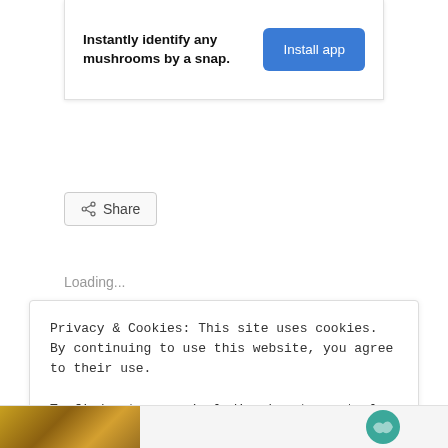Instantly identify any mushrooms by a snap.
Install app
Share
Loading...
Privacy & Cookies: This site uses cookies. By continuing to use this website, you agree to their use.
To find out more, including how to control cookies, see here: Cookie Policy
Close and accept